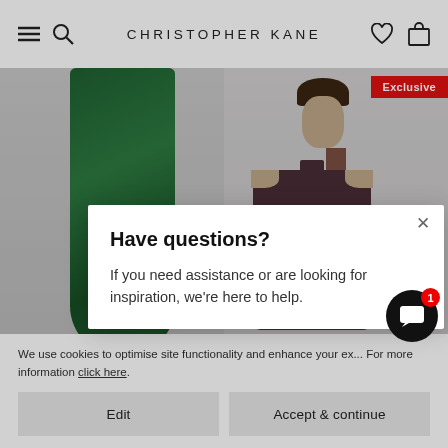CHRISTOPHER KANE
[Figure (photo): Two product photos: left shows a green lurex knitted skirt with black shoes on grey background; right shows a model wearing a cut-out shoulder lurex knitted top in dark purple on light grey background with red Exclusive badge]
lurex knitted skirt $500.00 $000.00
cut out shoulder lurex knitted top $041.00 $000.00
[Figure (screenshot): Modal dialog: Have questions? If you need assistance or are looking for inspiration, we're here to help. With X close button.]
We use cookies to optimise site functionality and enhance your ex... For more information click here.
Edit
Accept & continue